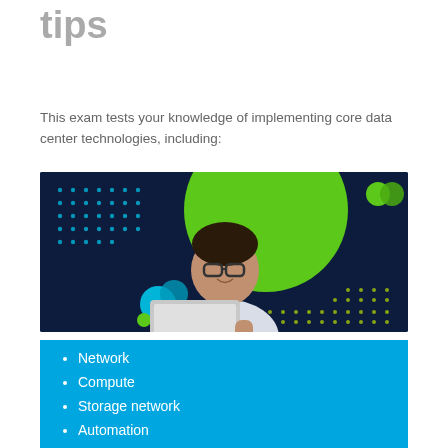tips
This exam tests your knowledge of implementing core data center technologies, including:
[Figure (photo): A smiling man wearing glasses and a white shirt, working on a laptop, against a dark navy background with green circle, cyan circles, and decorative dot patterns.]
Network
Compute
Storage network
Automation